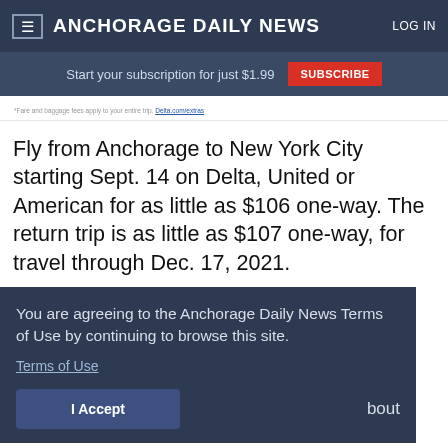ANCHORAGE DAILY NEWS   LOG IN
Start your subscription for just $1.99   SUBSCRIBE
*Fare and baggage fees apply to your entire trip. Delta.com/extras
Fly from Anchorage to New York City starting Sept. 14 on Delta, United or American for as little as $106 one-way. The return trip is as little as $107 one-way, for travel through Dec. 17, 2021.
You are agreeing to the Anchorage Daily News Terms of Use by continuing to browse this site.
Terms of Use
I Accept
bout